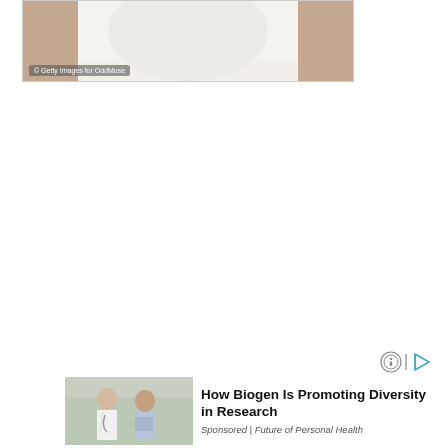[Figure (photo): Partial photo of a person wearing a white shirt/top, cropped body view with beige/tan background. Getty Images watermark overlay.]
© Getty Images for OddMuse
[Figure (infographic): Ad indicator icons: circular icon and play button icon]
[Figure (photo): Sponsored card image showing a doctor (woman in white coat with stethoscope) consulting with a male patient in a medical setting.]
How Biogen Is Promoting Diversity in Research
Sponsored | Future of Personal Health